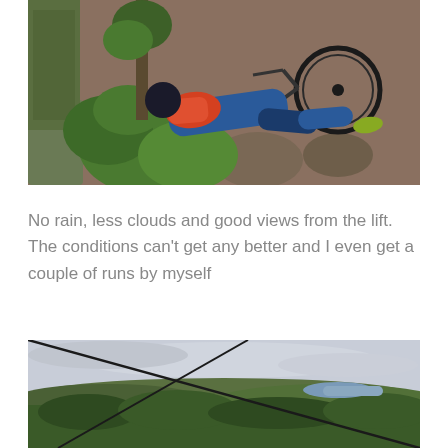[Figure (photo): A mountain biker has crashed on a rocky dirt trail surrounded by green plants and boulders. The rider is lying on the ground with the bike on top or beside them. Colorful riding gear is visible.]
No rain, less clouds and good views from the lift. The conditions can't get any better and I even get a couple of runs by myself
[Figure (photo): A panoramic view from a ski lift or cable car looking down over a forested valley with a river or lake visible in the distance under a cloudy sky. Cable wires are visible in the foreground.]